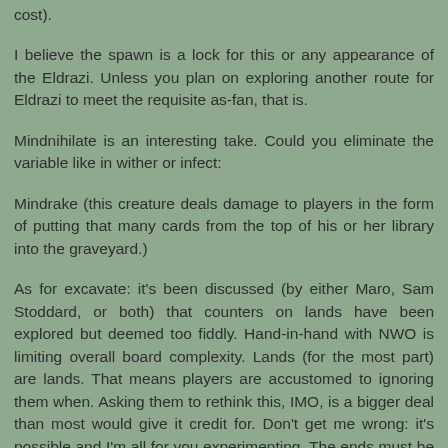cost).
I believe the spawn is a lock for this or any appearance of the Eldrazi. Unless you plan on exploring another route for Eldrazi to meet the requisite as-fan, that is.
Mindnihilate is an interesting take. Could you eliminate the variable like in wither or infect:
Mindrake (this creature deals damage to players in the form of putting that many cards from the top of his or her library into the graveyard.)
As for excavate: it's been discussed (by either Maro, Sam Stoddard, or both) that counters on lands have been explored but deemed too fiddly. Hand-in-hand with NWO is limiting overall board complexity. Lands (for the most part) are lands. That means players are accustomed to ignoring them when. Asking them to rethink this, IMO, is a bigger deal than most would give it credit for. Don't get me wrong: it's possible and I'm all for you experimenting. The ends must be something truley special to justify the means.